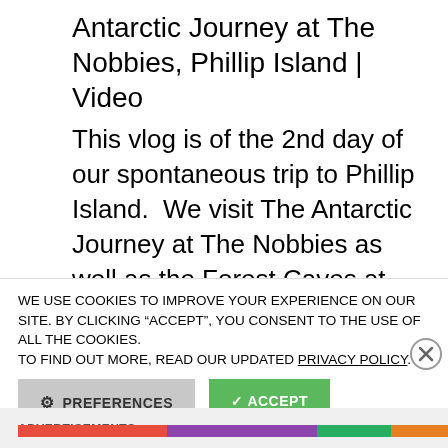Antarctic Journey at The Nobbies, Phillip Island | Video
This vlog is of the 2nd day of our spontaneous trip to Phillip Island.  We visit The Antarctic Journey at The Nobbies as well as the Forest Caves at Surf Beach.  I also took the drone up over Woolamai Beach first thing in the morning.
WE USE COOKIES TO IMPROVE YOUR EXPERIENCE ON OUR SITE. BY CLICKING “ACCEPT”, YOU CONSENT TO THE USE OF ALL THE COOKIES.
TO FIND OUT MORE, READ OUR UPDATED PRIVACY POLICY.
PREFERENCES
ACCEPT
ADVERTISEMENTS